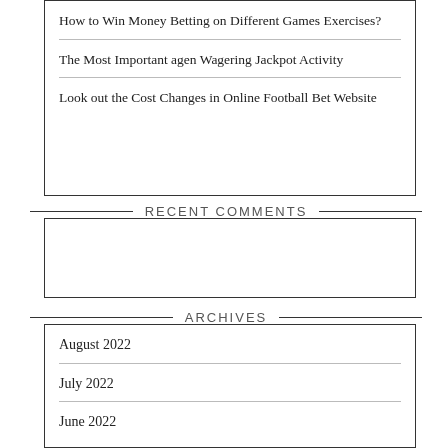How to Win Money Betting on Different Games Exercises?
The Most Important agen Wagering Jackpot Activity
Look out the Cost Changes in Online Football Bet Website
RECENT COMMENTS
ARCHIVES
August 2022
July 2022
June 2022